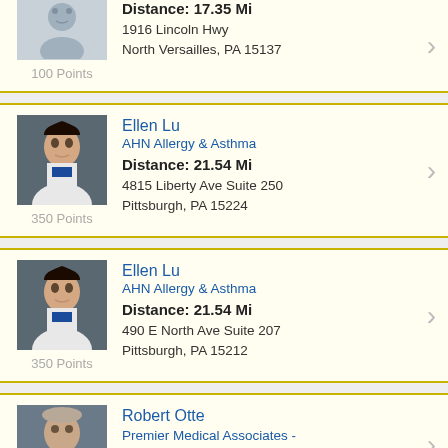Distance: 17.35 Mi | 1916 Lincoln Hwy | North Versailles, PA 15137 | 100 Points
Ellen Lu | AHN Allergy & Asthma | Distance: 21.54 Mi | 4815 Liberty Ave Suite 250 | Pittsburgh, PA 15224 | 350 Points
Ellen Lu | AHN Allergy & Asthma | Distance: 21.54 Mi | 490 E North Ave Suite 207 | Pittsburgh, PA 15212 | 350 Points
Robert Otte | Premier Medical Associates - Allergy & Immunology